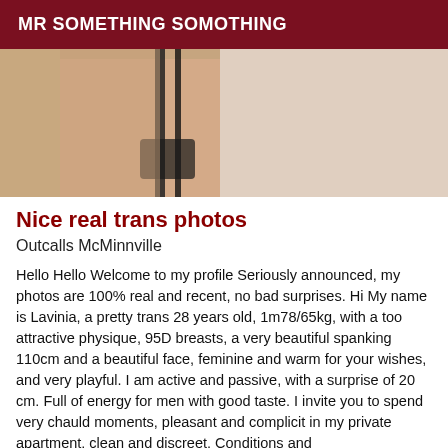MR SOMETHING SOMOTHING
[Figure (photo): Partial body photo showing torso with black lingerie straps and white top]
Nice real trans photos
Outcalls McMinnville
Hello Hello Welcome to my profile Seriously announced, my photos are 100% real and recent, no bad surprises. Hi My name is Lavinia, a pretty trans 28 years old, 1m78/65kg, with a too attractive physique, 95D breasts, a very beautiful spanking 110cm and a beautiful face, feminine and warm for your wishes, and very playful. I am active and passive, with a surprise of 20 cm. Full of energy for men with good taste. I invite you to spend very chauld moments, pleasant and complicit in my private apartment, clean and discreet. Conditions and